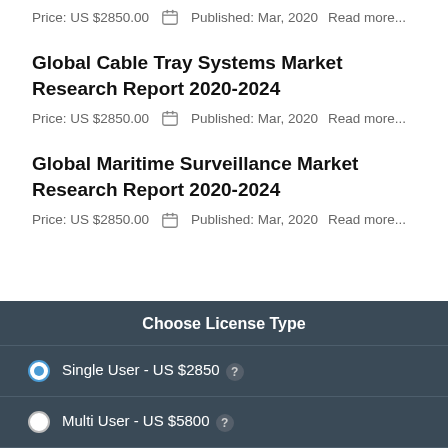Price: US $2850.00   Published: Mar, 2020   Read more...
Global Cable Tray Systems Market Research Report 2020-2024
Price: US $2850.00   Published: Mar, 2020   Read more...
Global Maritime Surveillance Market Research Report 2020-2024
Price: US $2850.00   Published: Mar, 2020   Read more...
Choose License Type
Single User - US $2850 ?
Multi User - US $5800 ?